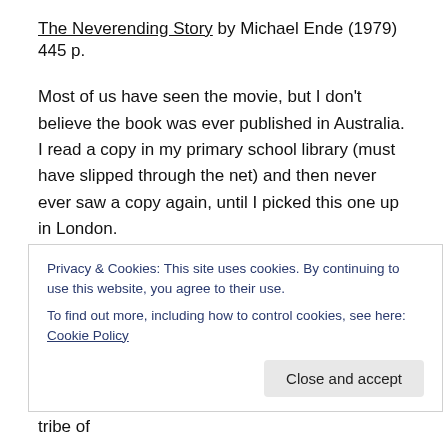The Neverending Story by Michael Ende (1979) 445 p.
Most of us have seen the movie, but I don't believe the book was ever published in Australia. I read a copy in my primary school library (must have slipped through the net) and then never ever saw a copy again, until I picked this one up in London.
Bastian Baltazhar Bux, a fat and bullied schoolchild (whom I visualised as Uter from the Simpsons, since the book is German) steals the Neverending Story from a bookstore
Privacy & Cookies: This site uses cookies. By continuing to use this website, you agree to their use.
To find out more, including how to control cookies, see here: Cookie Policy
existing. Atreyu, a ten-year old warrior from a tribe of